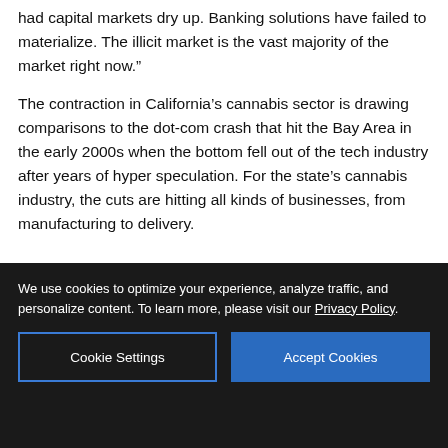had capital markets dry up. Banking solutions have failed to materialize. The illicit market is the vast majority of the market right now.”
The contraction in California’s cannabis sector is drawing comparisons to the dot-com crash that hit the Bay Area in the early 2000s when the bottom fell out of the tech industry after years of hyper speculation. For the state’s cannabis industry, the cuts are hitting all kinds of businesses, from manufacturing to delivery.
[Figure (photo): Advertisement for Unger Construction Co. showing a modern multi-story office building with text 'Building in Northern California for 95 years' and logo with locations Petaluma, Sacramento, and website UngarConstruction.com]
We use cookies to optimize your experience, analyze traffic, and personalize content. To learn more, please visit our Privacy Policy.
Cookie Settings | Accept Cookies